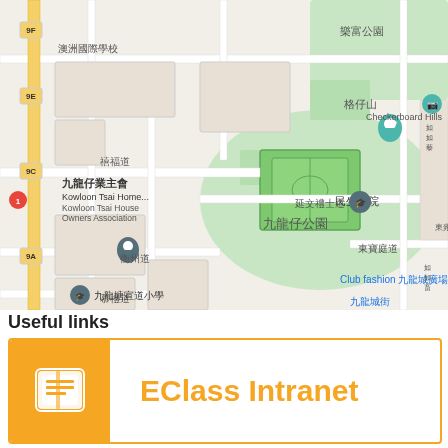[Figure (map): Google Maps screenshot showing Kowloon Tsai area in Hong Kong, with landmarks including 樂富公園, 格仔山 (Checkerboard Hills), 九龍仔公園, 民生書院, 九龍仔業主會 (Kowloon Tsai Home Owners Association), Club fashion 九龍城廣場, 九龍塘宣道小學, and various road names including 禧福道, 衡州道, 慕禮道, 東寶庭道, 延文禮士道.]
Useful links
[Figure (logo): EClass Intranet card with orange background icon (book/intranet icon) on left and orange bold text 'EClass Intranet' on right, inside an orange-bordered card.]